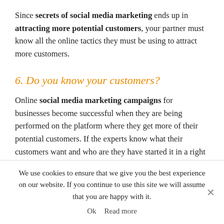Since secrets of social media marketing ends up in attracting more potential customers, your partner must know all the online tactics they must be using to attract more customers.
6. Do you know your customers?
Online social media marketing campaigns for businesses become successful when they are being performed on the platform where they get more of their potential customers. If the experts know what their customers want and who are they have started it in a right manner.
We use cookies to ensure that we give you the best experience on our website. If you continue to use this site we will assume that you are happy with it.
Ok   Read more